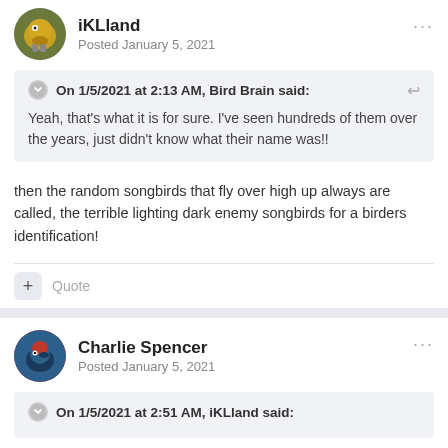iKLland
Posted January 5, 2021
On 1/5/2021 at 2:13 AM, Bird Brain said:
Yeah, that's what it is for sure. I've seen hundreds of them over the years, just didn't know what their name was!!
then the random songbirds that fly over high up always are called, the terrible lighting dark enemy songbirds for a birders identification!
Quote
Charlie Spencer
Posted January 5, 2021
On 1/5/2021 at 2:51 AM, iKLland said: